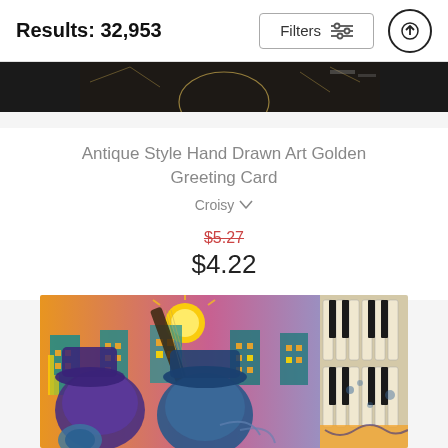Results: 32,953
Filters
[Figure (screenshot): Partial dark product image strip at top showing a golden antique style art greeting card, partially visible]
Antique Style Hand Drawn Art Golden Greeting Card
Croisy
$5.27 (strikethrough original price)
$4.22
[Figure (photo): Colorful hand-drawn art painting on a greeting card showing musicians with a guitar/sitar in front of a cityscape with buildings and an orange sun, people with purple-blue faces and hats, and a piano keyboard on the right side]